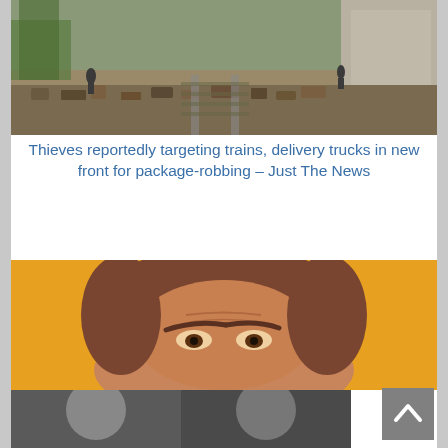[Figure (photo): Aerial or ground-level view of a train track area with debris and people walking among rubble next to a wall]
Thieves reportedly targeting trains, delivery trucks in new front for package-robbing – Just The News
[Figure (photo): Close-up of a man's face with brown hair and furrowed brows against an orange/yellow background]
BREAKING: Minnesota Bank and Trust moves to CANCEL MyPillow founder's bank accounts – The Post Millennial
[Figure (photo): Partial view of another article image at the bottom of the page, cropped]